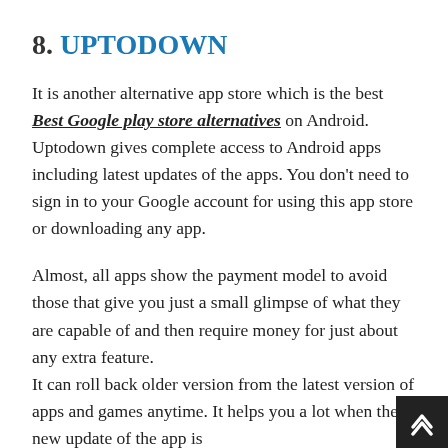8. UPTODOWN
It is another alternative app store which is the best Best Google play store alternatives on Android. Uptodown gives complete access to Android apps including latest updates of the apps. You don't need to sign in to your Google account for using this app store or downloading any app.
Almost, all apps show the payment model to avoid those that give you just a small glimpse of what they are capable of and then require money for just about any extra feature. It can roll back older version from the latest version of apps and games anytime. It helps you a lot when the new update of the app is